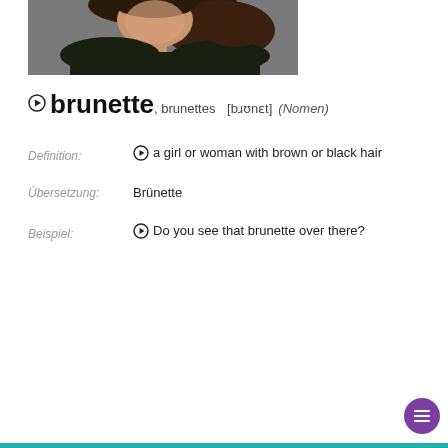[Figure (photo): Photo of a brunette woman/girl wearing a dark top, cropped to show upper body, with dark hair, against a gray background.]
brunette, brunettes [bɹʊnɛt] (Nomen)
Definition: ▶ a girl or woman with brown or black hair
Übersetzung: Brünette
Beispiel: ▶ Do you see that brunette over there?